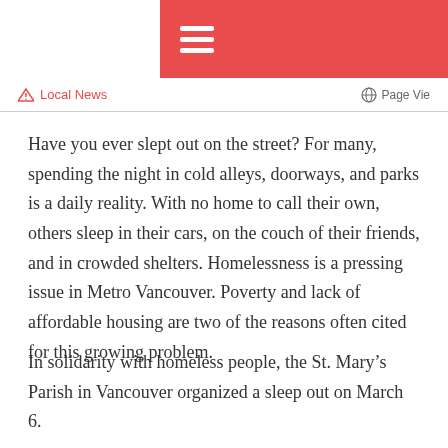Local News    Page Vie
Have you ever slept out on the street? For many, spending the night in cold alleys, doorways, and parks is a daily reality. With no home to call their own, others sleep in their cars, on the couch of their friends, and in crowded shelters. Homelessness is a pressing issue in Metro Vancouver. Poverty and lack of affordable housing are two of the reasons often cited for this growing problem.
In solidarity with homeless people, the St. Mary’s Parish in Vancouver organized a sleep out on March 6.